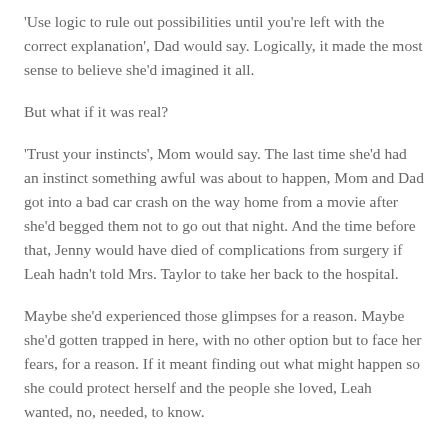'Use logic to rule out possibilities until you're left with the correct explanation', Dad would say. Logically, it made the most sense to believe she'd imagined it all.
But what if it was real?
'Trust your instincts', Mom would say. The last time she'd had an instinct something awful was about to happen, Mom and Dad got into a bad car crash on the way home from a movie after she'd begged them not to go out that night. And the time before that, Jenny would have died of complications from surgery if Leah hadn't told Mrs. Taylor to take her back to the hospital.
Maybe she'd experienced those glimpses for a reason. Maybe she'd gotten trapped in here, with no other option but to face her fears, for a reason. If it meant finding out what might happen so she could protect herself and the people she loved, Leah wanted, no, needed, to know.
The mirror lit with an eerie glow again, as if responding to